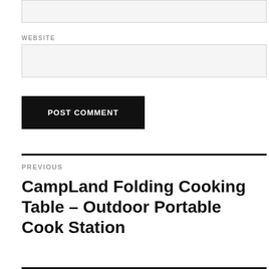[input box top]
WEBSITE
[website input box]
POST COMMENT
PREVIOUS
CampLand Folding Cooking Table – Outdoor Portable Cook Station